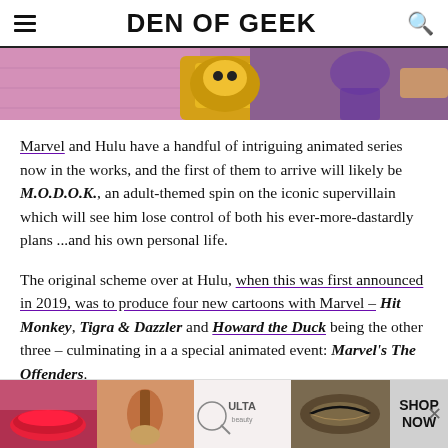DEN OF GEEK
[Figure (illustration): Comic book style hero image showing colorful Marvel characters including a yellow/purple villain]
Marvel and Hulu have a handful of intriguing animated series now in the works, and the first of them to arrive will likely be M.O.D.O.K., an adult-themed spin on the iconic supervillain which will see him lose control of both his ever-more-dastardly plans ...and his own personal life.
The original scheme over at Hulu, when this was first announced in 2019, was to produce four new cartoons with Marvel – Hit Monkey, Tigra & Dazzler and Howard the Duck being the other three – culminating in a a special animated event: Marvel's The Offenders.
[Figure (photo): Advertisement banner for ULTA Beauty showing makeup and cosmetics with SHOP NOW text]